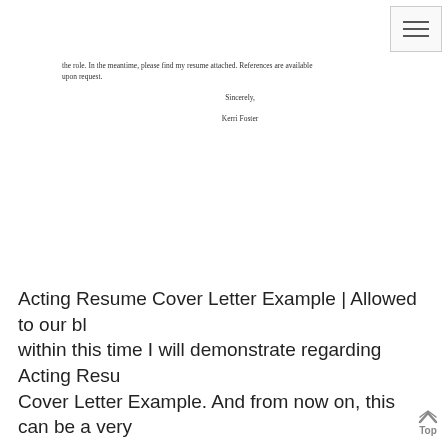[Figure (other): Hamburger menu button icon in top right corner]
the role. In the meantime, please find my resume attached. References are available upon request.
Sincerely,
Kerri Foster
Acting Resume Cover Letter Example | Allowed to our bl within this time I will demonstrate regarding Acting Resu Cover Letter Example. And from now on, this can be a very